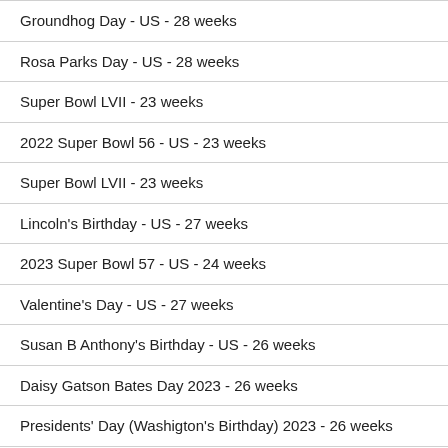Groundhog Day - US - 28 weeks
Rosa Parks Day - US - 28 weeks
Super Bowl LVII - 23 weeks
2022 Super Bowl 56 - US - 23 weeks
Super Bowl LVII - 23 weeks
Lincoln's Birthday - US - 27 weeks
2023 Super Bowl 57 - US - 24 weeks
Valentine's Day - US - 27 weeks
Susan B Anthony's Birthday - US - 26 weeks
Daisy Gatson Bates Day 2023 - 26 weeks
Presidents' Day (Washigton's Birthday) 2023 - 26 weeks
Linus Pauling Day - US - 25 weeks